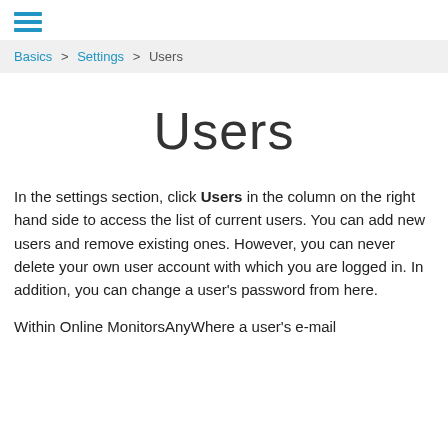☰
Basics > Settings > Users
Users
In the settings section, click Users in the column on the right hand side to access the list of current users. You can add new users and remove existing ones. However, you can never delete your own user account with which you are logged in. In addition, you can change a user's password from here.
Within Online MonitorsAnyWhere a user's e-mail